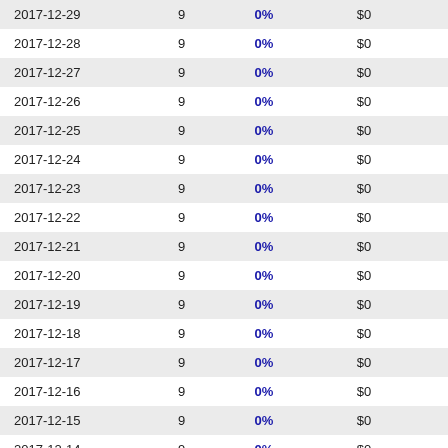| 2017-12-29 | 9 | 0% | $0 | -- |
| 2017-12-28 | 9 | 0% | $0 | -- |
| 2017-12-27 | 9 | 0% | $0 | -- |
| 2017-12-26 | 9 | 0% | $0 | -- |
| 2017-12-25 | 9 | 0% | $0 | -- |
| 2017-12-24 | 9 | 0% | $0 | -- |
| 2017-12-23 | 9 | 0% | $0 | -- |
| 2017-12-22 | 9 | 0% | $0 | -- |
| 2017-12-21 | 9 | 0% | $0 | -- |
| 2017-12-20 | 9 | 0% | $0 | -- |
| 2017-12-19 | 9 | 0% | $0 | -- |
| 2017-12-18 | 9 | 0% | $0 | -- |
| 2017-12-17 | 9 | 0% | $0 | -- |
| 2017-12-16 | 9 | 0% | $0 | -- |
| 2017-12-15 | 9 | 0% | $0 | -- |
| 2017-12-14 | 9 | 0% | $0 | -- |